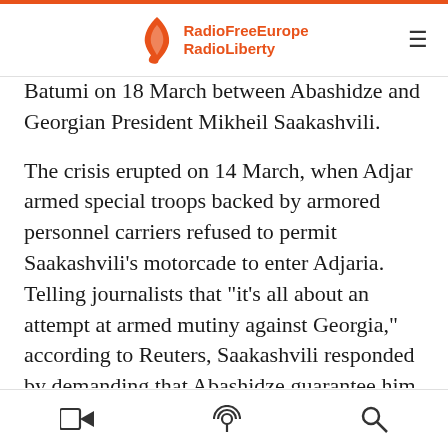[Figure (logo): Radio Free Europe Radio Liberty logo with orange flame/leaf icon and gray/orange text]
Batumi on 18 March between Abashidze and Georgian President Mikheil Saakashvili.
The crisis erupted on 14 March, when Adjar armed special troops backed by armored personnel carriers refused to permit Saakashvili's motorcade to enter Adjaria. Telling journalists that "it's all about an attempt at armed mutiny against Georgia," according to Reuters, Saakashvili responded by demanding that Abashidze guarantee him and members of the Georgian government freedom to enter and travel around Adjaria; observe freedom of expression and campaigning in the run-up to the 28 March parliamentary election and ensure that the
video | podcast | search icons